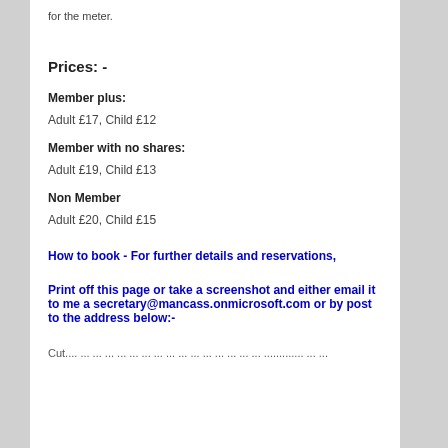for the meter.
Prices: -
Member plus:
Adult £17,  Child £12
Member with no shares:
Adult £19,  Child £13
Non Member
Adult £20,  Child £15
How to book - For further details and reservations,
Print off this page or take a screenshot and either email it to me a secretary@mancass.onmicrosoft.com or by post to the address below:-
Cut.... ... ... ... ... ... ... ... ... ... ... ... ... ... ... ... ............. ... ...